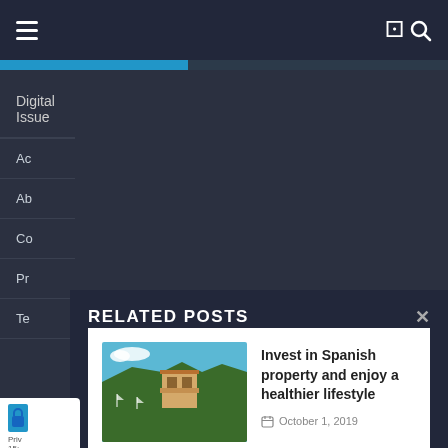Navigation menu with hamburger icon and search icon
Digital Issue
Ac
Ab
Co
Pr
Te
RELATED POSTS
[Figure (photo): Coastal Mediterranean scene with turquoise water, sailboats, and a building with a balcony]
Invest in Spanish property and enjoy a healthier lifestyle
October 1, 2019
[Figure (photo): Person in yellow-orange sweater typing on a laptop]
Why it's important to have good website content
July 4, 2019
Priv